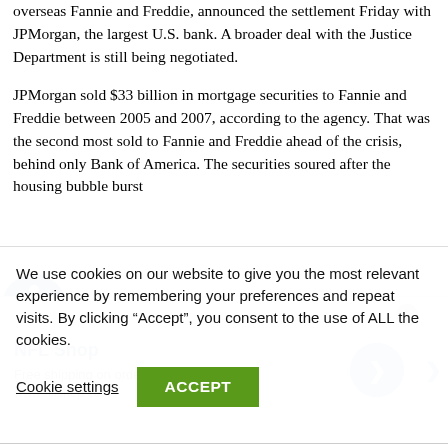overseas Fannie and Freddie, announced the settlement Friday with JPMorgan, the largest U.S. bank. A broader deal with the Justice Department is still being negotiated.
JPMorgan sold $33 billion in mortgage securities to Fannie and Freddie between 2005 and 2007, according to the agency. That was the second most sold to Fannie and Freddie ahead of the crisis, behind only Bank of America. The securities soured after the housing bubble burst
[Figure (other): NFL Shop advertisement banner: 'Free shipping on orders over $25, www.nflshop.com' with blue arrow button and close (X) button]
verge of collapse. The companies received
We use cookies on our website to give you the most relevant experience by remembering your preferences and repeat visits. By clicking "Accept", you consent to the use of ALL the cookies.
Cookie settings
ACCEPT